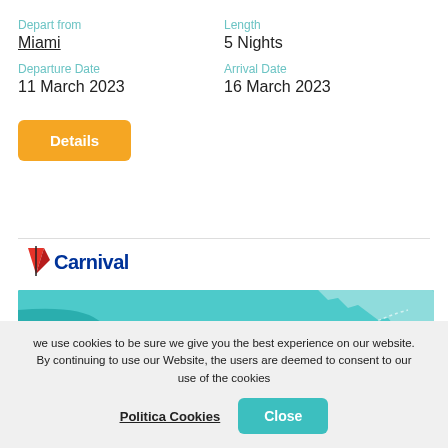Depart from
Miami
Length
5 Nights
Departure Date
11 March 2023
Arrival Date
16 March 2023
Details
[Figure (logo): Carnival cruise line logo with red sail icon and blue 'Carnival' text]
[Figure (map): Teal/green map of the eastern United States coastline with 'UNITED STATES OF AMERICA' text overlay]
we use cookies to be sure we give you the best experience on our website. By continuing to use our Website, the users are deemed to consent to our use of the cookies
Politica Cookies
Close